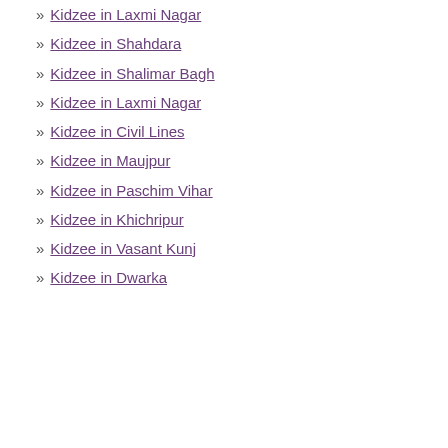Kidzee in Laxmi Nagar
Kidzee in Shahdara
Kidzee in Shalimar Bagh
Kidzee in Laxmi Nagar
Kidzee in Civil Lines
Kidzee in Maujpur
Kidzee in Paschim Vihar
Kidzee in Khichripur
Kidzee in Vasant Kunj
Kidzee in Dwarka